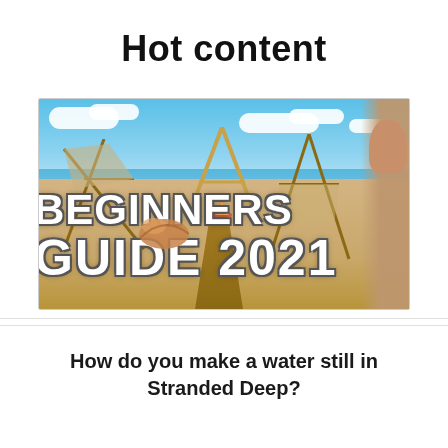Hot content
[Figure (screenshot): Thumbnail image for a video game guide showing a beach survival scene with shelters, a campfire, and large text reading 'BEGINNERS GUIDE 2021' overlaid on sandy beach with ocean in background.]
How do you make a water still in Stranded Deep?